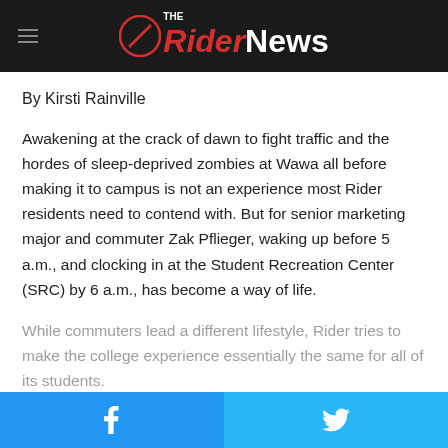The Rider News
By Kirsti Rainville
Awakening at the crack of dawn to fight traffic and the hordes of sleep-deprived zombies at Wawa all before making it to campus is not an experience most Rider residents need to contend with. But for senior marketing major and commuter Zak Pflieger, waking up before 5 a.m., and clocking in at the Student Recreation Center (SRC) by 6 a.m., has become a way of life.
While commuters lead a different lifestyle, Rider tries to make the college experience essentially the same for all of its students.
Facebook | Twitter